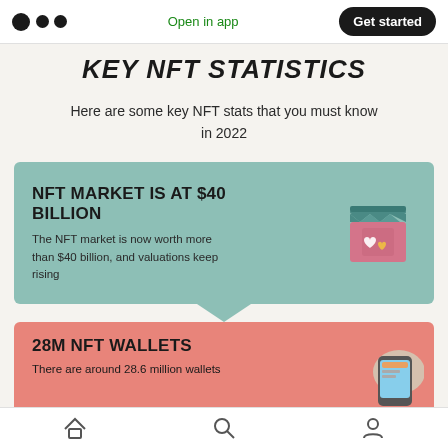Open in app  Get started
KEY NFT STATISTICS
Here are some key NFT stats that you must know in 2022
[Figure (infographic): Green card infographic panel: 'NFT MARKET IS AT $40 BILLION' with text 'The NFT market is now worth more than $40 billion, and valuations keep rising' and a shop/storefront icon on the right]
[Figure (infographic): Pink card infographic panel: '28M NFT WALLETS' with partial text 'There are around 28.6 million wallets' and a wallet/phone icon on the right]
Home  Search  Profile